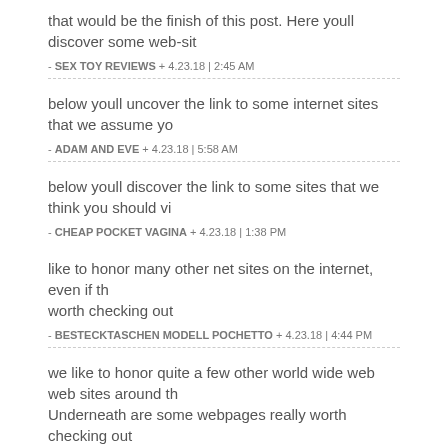that would be the finish of this post. Here youll discover some web-sit
- SEX TOY REVIEWS + 4.23.18 | 2:45 AM
below youll uncover the link to some internet sites that we assume yo
- ADAM AND EVE + 4.23.18 | 5:58 AM
below youll discover the link to some sites that we think you should vi
- CHEAP POCKET VAGINA + 4.23.18 | 1:38 PM
like to honor many other net sites on the internet, even if the worth checking out
- BESTECKTASCHEN MODELL POCHETTO + 4.23.18 | 4:44 PM
we like to honor quite a few other world wide web web sites around th Underneath are some webpages really worth checking out
- WOMEN WEARING STRAP ONS + 4.24.18 | 2:04 PM
usually posts some pretty exciting stuff like this. If youre new to this si